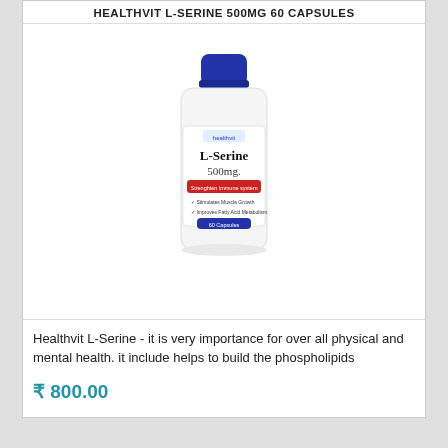HEALTHVIT L-SERINE 500MG 60 CAPSULES
[Figure (photo): White bottle with blue cap labeled L-Serine 500mg by Healthvit]
Healthvit L-Serine - it is very importance for over all physical and mental health. it include helps to build the phospholipids
₹ 800.00
HEALTHVIT MELATONIN 10MG REGULATES FOR SLEEP CYCLE 60 TABLETS
[Figure (photo): White bottle with blue cap, partially visible at bottom of page]